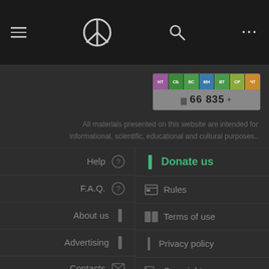Navigation bar with hamburger menu, peace symbol logo, search icon, and more (…) button
[Figure (screenshot): Colored counter badge showing categories NT, CF, BC, MK, BT, CR, YT with count 66 835]
All materials presented on this website are intended for informational, scientific, educational and cultural purposes..
Help
Donate us
F.A.Q.
Rules
About us
Terms of use
Advertising
Privacy policy
Contacts
Copyrights